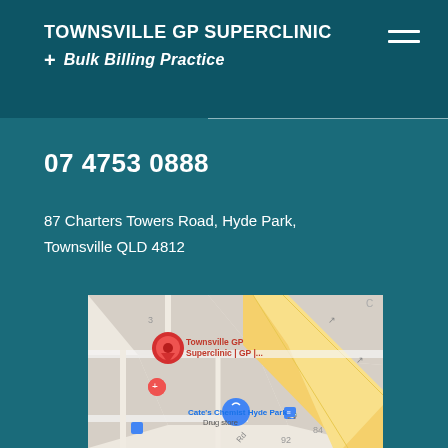TOWNSVILLE GP SUPERCLINIC
+ Bulk Billing Practice
07 4753 0888
87 Charters Towers Road, Hyde Park, Townsville QLD 4812
[Figure (map): Google Maps screenshot showing the location of Townsville GP Superclinic at 87 Charters Towers Road, Hyde Park, with a red location pin labeled 'Townsville GP Superclinic | GP |...' and nearby Cate's Chemist Hyde Park Drug store visible with a blue pin. A yellow road (Charters Towers Road) runs diagonally across the map.]